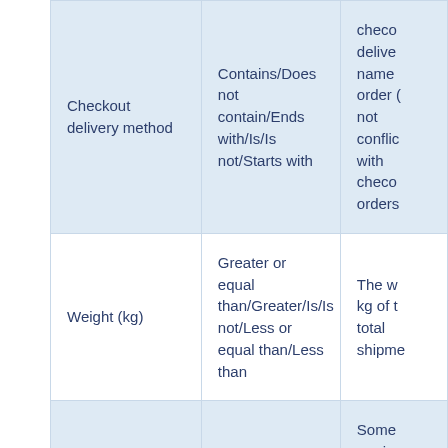| Checkout delivery method | Contains/Does not contain/Ends with/Is/Is not/Starts with | checkout delivery name order (not conflict with checkout orders |
| Weight (kg) | Greater or equal than/Greater/Is/Is not/Less or equal than/Less than | The w kg of t total shipme |
|  |  | Some carrier require phone |